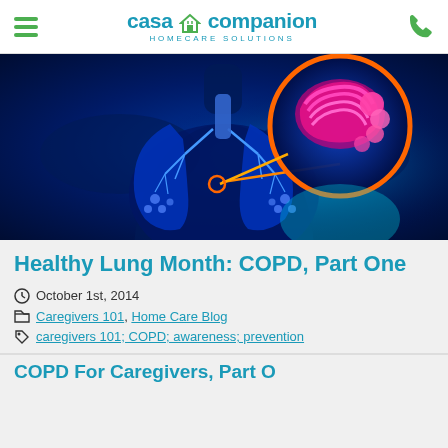Casa Companion Homecare Solutions
[Figure (illustration): Medical illustration of human torso with lungs highlighted in blue, with a circular inset showing a magnified view of bronchial tissue in pink/magenta against a dark blue background with orange circular border]
Healthy Lung Month: COPD, Part One
October 1st, 2014
Caregivers 101, Home Care Blog
caregivers 101; COPD; awareness; prevention
COPD For Caregivers, Part One